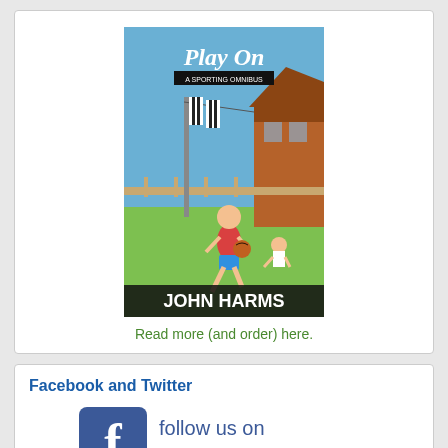[Figure (illustration): Book cover of 'Play On: A Sporting Omnibus' by John Harms, showing a boy running with a ball on a suburban Australian street with clothesline and brick building in background.]
Read more (and order) here.
Facebook and Twitter
[Figure (logo): Facebook 'follow us on facebook' badge with Facebook logo icon and reflected text below.]